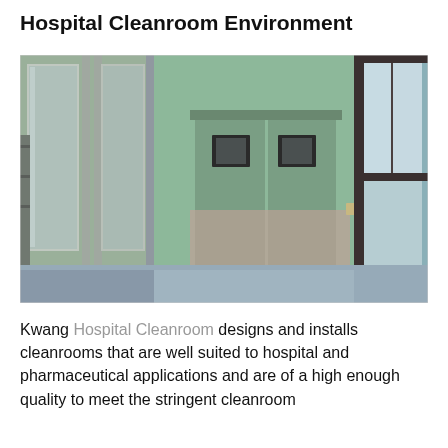Hospital Cleanroom Environment
[Figure (photo): Interior of a hospital cleanroom with green walls, glass partition panels on the left, stainless steel kick plates on double swing doors in the center, and a window with natural light on the right. Blue floor visible.]
Kwang Hospital Cleanroom designs and installs cleanrooms that are well suited to hospital and pharmaceutical applications and are of a high enough quality to meet the stringent cleanroom